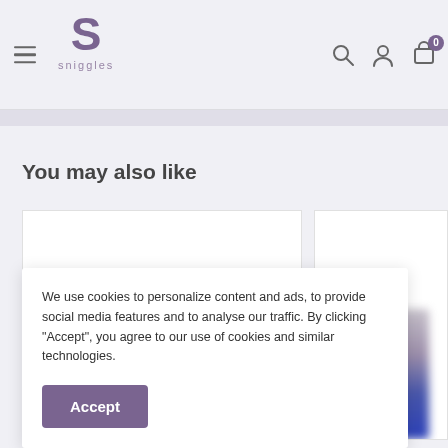sniggles — navigation header with menu, logo, search, account, and cart icons
You may also like
[Figure (photo): Blurred product image in a white card — appears to be a tin/container of baby formula or similar product]
[Figure (photo): Blurred product image in a white card — appears to be a dark blue/navy package]
We use cookies to personalize content and ads, to provide social media features and to analyse our traffic. By clicking "Accept", you agree to our use of cookies and similar technologies.
Accept